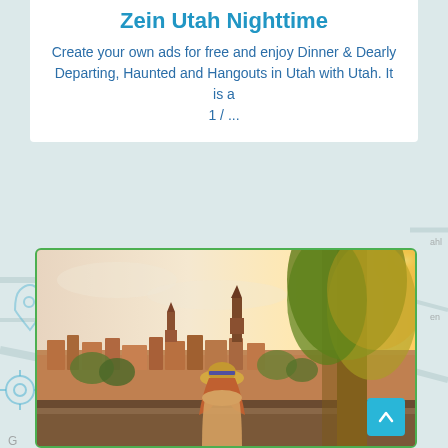Zein Utah Nighttime
Create your own ads for free and enjoy Dinner & Dearly Departing, Haunted and Hangouts in Utah with Utah. It is a 1 / ...
[Figure (photo): Woman with hat sitting on a hilltop overlooking a European-style city at sunset with warm golden light and trees on the right side]